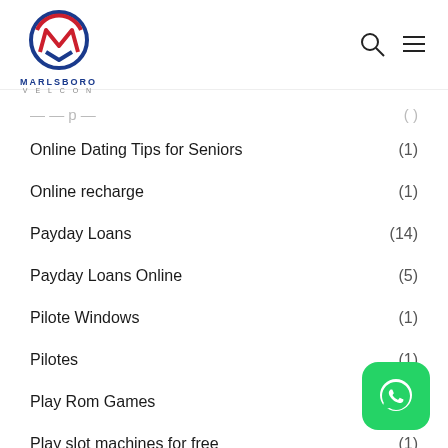Marlsboro Velcon
Online Dating Tips for Seniors (1)
Online recharge (1)
Payday Loans (14)
Payday Loans Online (5)
Pilote Windows (1)
Pilotes (1)
Play Rom Games
Play slot machines for free (1)